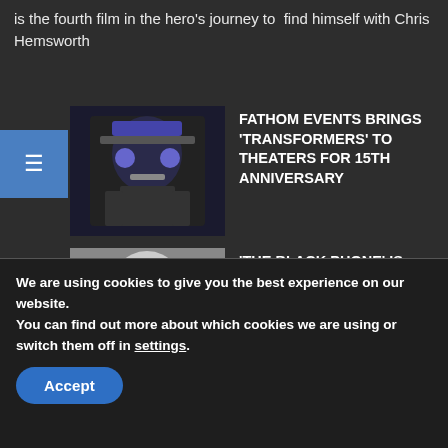is the fourth film in the hero's journey to find himself with Chris Hemsworth
[Figure (photo): Thumbnail image of Optimus Prime / Transformers character in blue and grey]
FATHOM EVENTS BRINGS 'TRANSFORMERS' TO THEATERS FOR 15TH ANNIVERSARY
[Figure (photo): Thumbnail image of a masked/creepy face from The Black Phone]
'THE BLACK PHONE' IS FAST-PACED THRILLER, SET TO ENTERTAIN SUMMER AUDIENCES
[Figure (photo): Thumbnail image from Jurassic World Dominion]
'JURASSIC WORLD DOMINION' CAN'T BE SAVED BY
We are using cookies to give you the best experience on our website.
You can find out more about which cookies we are using or switch them off in settings.
Accept